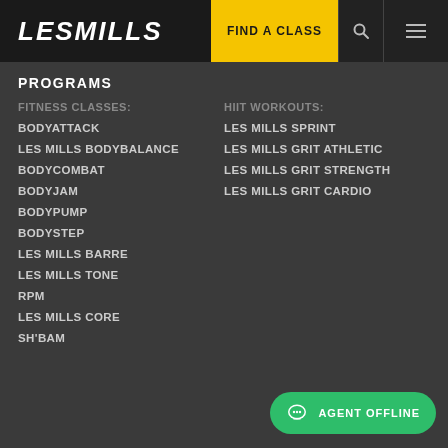LesMills | FIND A CLASS
PROGRAMS
FITNESS CLASSES:
BODYATTACK
LES MILLS BODYBALANCE
BODYCOMBAT
BODYJAM
BODYPUMP
BODYSTEP
LES MILLS BARRE
LES MILLS TONE
RPM
LES MILLS CORE
SH'BAM
HIIT WORKOUTS:
LES MILLS SPRINT
LES MILLS GRIT ATHLETIC
LES MILLS GRIT STRENGTH
LES MILLS GRIT CARDIO
AGENT OFFLINE